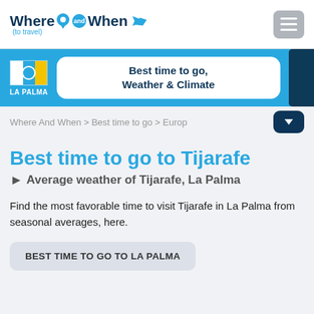Where and When (to travel)
[Figure (logo): Where and When (to travel) website logo with airplane icon and map pin]
[Figure (infographic): La Palma flag icon with white, blue and yellow stripes, with text LA PALMA]
Best time to go, Weather & Climate
Where And When > Best time to go > Europ
Best time to go to Tijarafe
Average weather of Tijarafe, La Palma
Find the most favorable time to visit Tijarafe in La Palma from seasonal averages, here.
BEST TIME TO GO TO LA PALMA